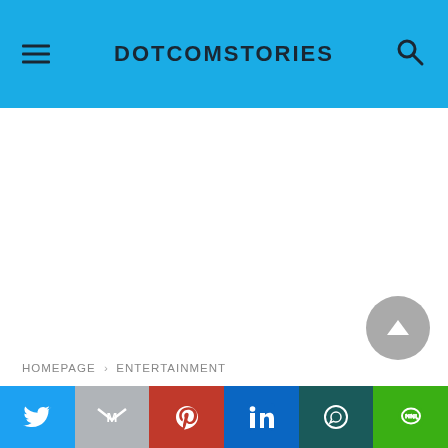DOTCOMSTORIES
HOMEPAGE › ENTERTAINMENT
[Figure (screenshot): White blank content area of a web page]
Share bar with Twitter, Gmail, Pinterest, LinkedIn, WhatsApp, LINE buttons